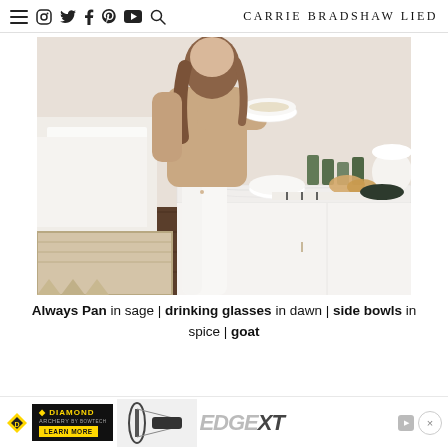CARRIE BRADSHAW LIED
[Figure (photo): Woman in beige top and white jeans standing at a kitchen counter holding a white bowl, with green drinking glasses, side bowls, bread, and a dark pan on the counter behind her.]
Always Pan in sage | drinking glasses in dawn | side bowls in spice | goat
[Figure (other): Diamond Archery advertisement banner with EDGE XT bow image and Learn More button.]